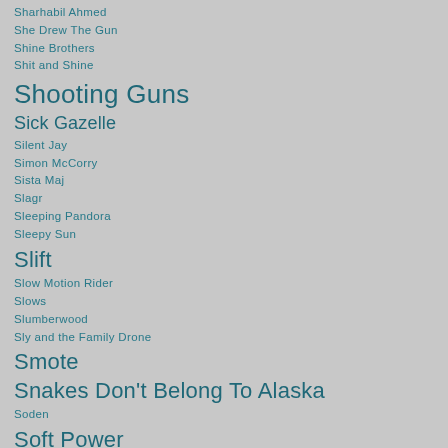Sharhabil Ahmed
She Drew The Gun
Shine Brothers
Shit and Shine
Shooting Guns
Sick Gazelle
Silent Jay
Simon McCorry
Sista Maj
Slagr
Sleeping Pandora
Sleepy Sun
Slift
Slow Motion Rider
Slows
Slumberwood
Sly and the Family Drone
Smote
Snakes Don't Belong To Alaska
Soden
Soft Power